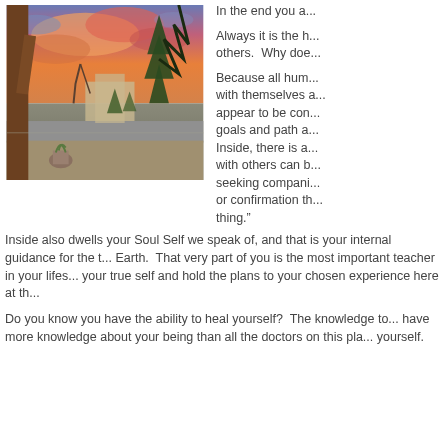[Figure (photo): Outdoor sunset scene with vivid orange-pink clouds, pine trees in foreground, buildings in background, and a wooden post/beam on the left side. A road and desert landscaping visible in the middle ground.]
In the end you a...
Always it is the h... others.  Why doe...
Because all hum... with themselves a... appear to be con... goals and path a... Inside, there is a... with others can b... seeking compani... or confirmation th... thing.”
Inside also dwells your Soul Self we speak of, and that is your internal guidance for the t... Earth.  That very part of you is the most important teacher in your lifes... your true self and hold the plans to your chosen experience here at th...
Do you know you have the ability to heal yourself?  The knowledge to... have more knowledge about your being than all the doctors on this pla... yourself.